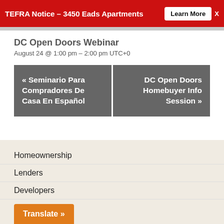TEFRA Notice – 3450 Eads Apartments  Learn More  X
DC Open Doors Webinar
August 24 @ 1:00 pm – 2:00 pm UTC+0
« Seminario Para Compradores De Casa En Español
DC Open Doors Homebuyer Info Session »
Homeownership
Lenders
Developers
Translate »